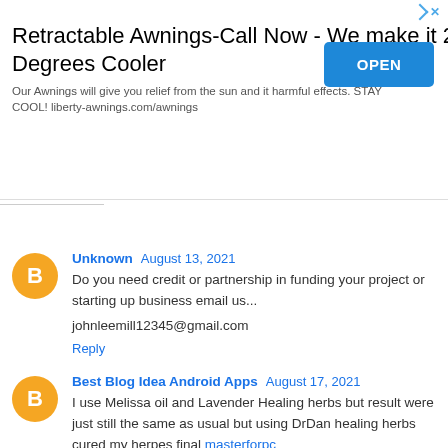[Figure (other): Advertisement banner: 'Retractable Awnings-Call Now - We make it 20 Degrees Cooler' with OPEN button and ad icons]
Unknown  August 13, 2021
Do you need credit or partnership in funding your project or starting up business email us...

johnleemill12345@gmail.com

Reply
Best Blog Idea Android Apps  August 17, 2021
I use Melissa oil and Lavender Healing herbs but result were just still the same as usual but using DrDan healing herbs cured my herpes final masterforpc

Reply